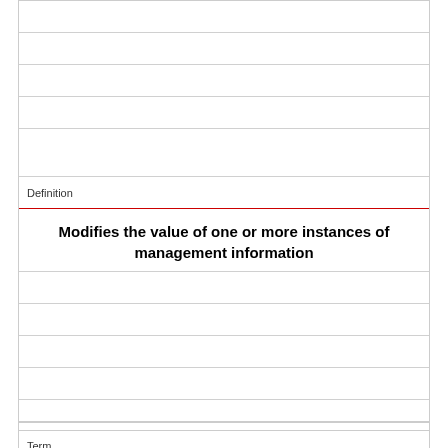Definition
Modifies the value of one or more instances of management information
Term
What is a trap?